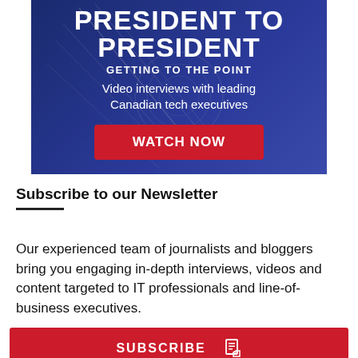[Figure (illustration): Dark blue banner advertisement with title 'PRESIDENT TO PRESIDENT', subtitle 'GETTING TO THE POINT', description 'Video interviews with leading Canadian tech executives', and a red 'WATCH NOW' button.]
Subscribe to our Newsletter
Our experienced team of journalists and bloggers bring you engaging in-depth interviews, videos and content targeted to IT professionals and line-of-business executives.
SUBSCRIBE